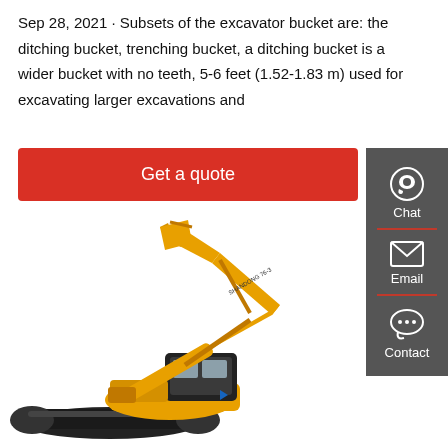Sep 28, 2021 · Subsets of the excavator bucket are: the ditching bucket, trenching bucket, a ditching bucket is a wider bucket with no teeth, 5-6 feet (1.52-1.83 m) used for excavating larger excavations and
[Figure (other): Red 'Get a quote' button]
[Figure (other): Dark grey sidebar with Chat (headset icon), Email (envelope icon), and Contact (speech bubble icon) items separated by red dividers]
[Figure (photo): Yellow mini excavator with raised arm and bucket, on white background]